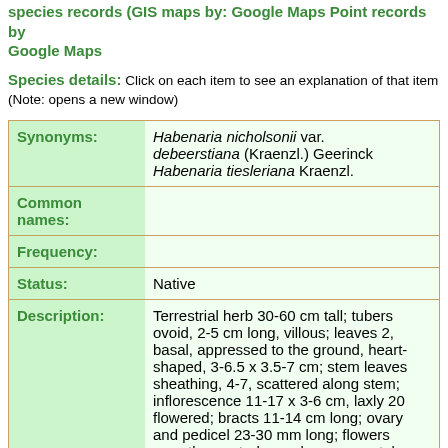species records (GIS maps by: Google Maps Point records by Google Maps
Species details: Click on each item to see an explanation of that item (Note: opens a new window)
| Field | Value |
| --- | --- |
| Synonyms: | Habenaria nicholsonii var. debeerstiana (Kraenzl.) Geerinck Habenaria tiesleriana Kraenzl. |
| Common names: |  |
| Frequency: |  |
| Status: | Native |
| Description: | Terrestrial herb 30-60 cm tall; tubers ovoid, 2-5 cm long, villous; leaves 2, basal, appressed to the ground, heart-shaped, 3-6.5 x 3.5-7 cm; stem leaves sheathing, 4-7, scattered along stem; inflorescence 11-17 x 3-6 cm, laxly 20 flowered; bracts 11-14 cm long; ovary and pedicel 23-30 mm long; flowers sweetly scented, sepals green, petals and lip white; dorsal sepal erect, 9-12 x 4-6 mm, ovate, convex; lateral sepals reflected, 8-15 x 2.5-4 mm, rolled lengthways; petals 9-12 x 3-5 |